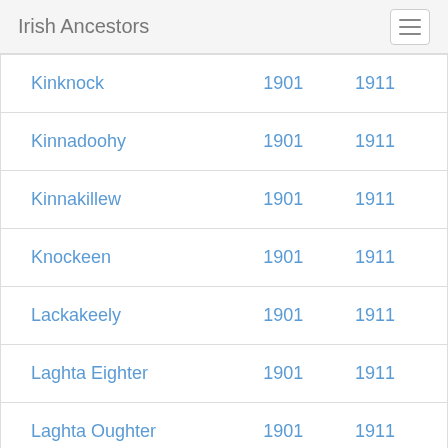Irish Ancestors
| Kinknock | 1901 | 1911 |
| Kinnadoohy | 1901 | 1911 |
| Kinnakillew | 1901 | 1911 |
| Knockeen | 1901 | 1911 |
| Lackakeely | 1901 | 1911 |
| Laghta Eighter | 1901 | 1911 |
| Laghta Oughter | 1901 | 1911 |
| Lecarrow | 1901 | 1911 |